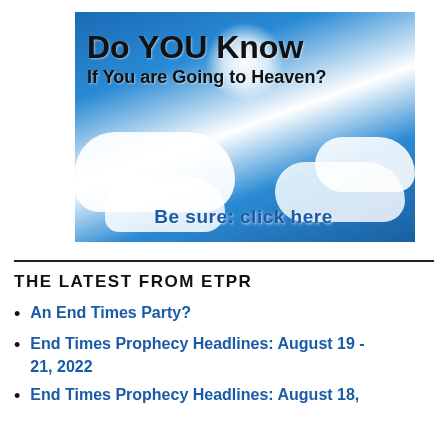[Figure (illustration): Banner image with sky and clouds background. Text reads 'Do YOU Know If You are Going to Heaven? Be sure: click here']
THE LATEST FROM ETPR
An End Times Party?
End Times Prophecy Headlines: August 19 - 21, 2022
End Times Prophecy Headlines: August 18,